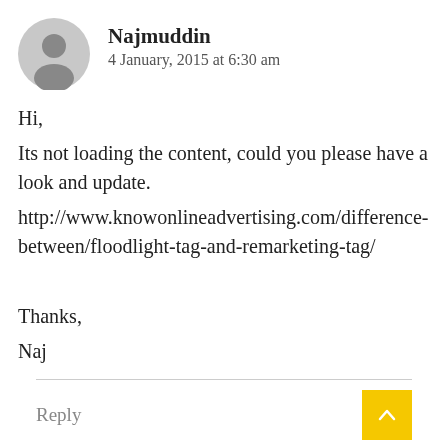Najmuddin
4 January, 2015 at 6:30 am
Hi,
Its not loading the content, could you please have a look and update.
http://www.knowonlineadvertising.com/difference-between/floodlight-tag-and-remarketing-tag/

Thanks,
Naj
Reply